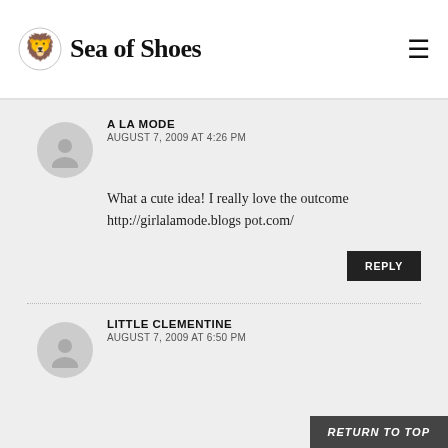Sea of Shoes
A LA MODE
AUGUST 7, 2009 AT 4:26 PM
What a cute idea! I really love the outcome http://girlalamode.blogspot.com/
REPLY
LITTLE CLEMENTINE
AUGUST 7, 2009 AT 6:50 PM
RETURN TO TOP